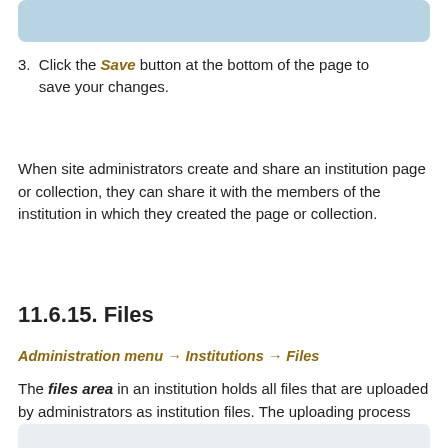[Figure (other): Light blue rounded box at the top of the page (partial, continuation from previous page)]
3. Click the Save button at the bottom of the page to save your changes.
When site administrators create and share an institution page or collection, they can share it with the members of the institution in which they created the page or collection.
11.6.15. Files
Administration menu → Institutions → Files
The files area in an institution holds all files that are uploaded by administrators as institution files. The uploading process works like the one in the personal files area.
[Figure (other): Light gray/blue rounded box at the bottom of the page (partial, continues below)]